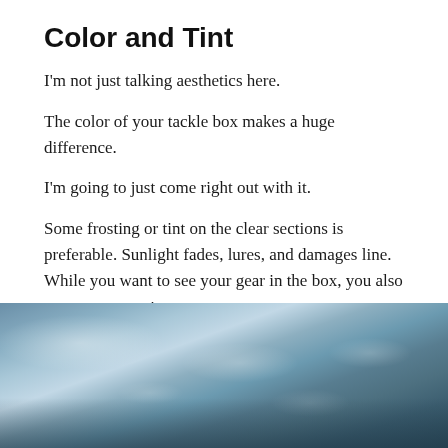Color and Tint
I'm not just talking aesthetics here.
The color of your tackle box makes a huge difference.
I'm going to just come right out with it.
Some frosting or tint on the clear sections is preferable. Sunlight fades, lures, and damages line. While you want to see your gear in the box, you also want to protect it.
Choose a tackle box with tinted windows.
[Figure (photo): Photograph of water surface with ripples and reflections, bluish-grey tones, partially visible boat or person at bottom edge]